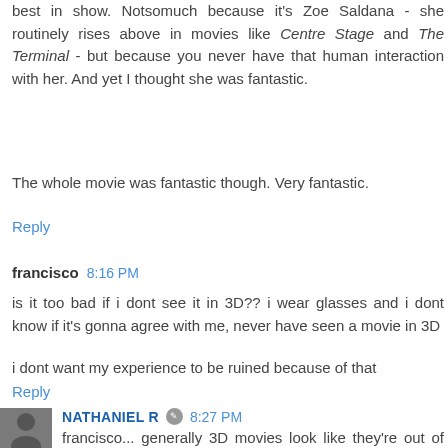best in show. Notsomuch because it's Zoe Saldana - she routinely rises above in movies like Centre Stage and The Terminal - but because you never have that human interaction with her. And yet I thought she was fantastic.
The whole movie was fantastic though. Very fantastic.
Reply
francisco 8:16 PM
is it too bad if i dont see it in 3D?? i wear glasses and i dont know if it's gonna agree with me, never have seen a movie in 3D
i dont want my experience to be ruined because of that
Reply
NATHANIEL R 8:27 PM
francisco... generally 3D movies look like they're out of focus if you try to watch them without the glasses on.